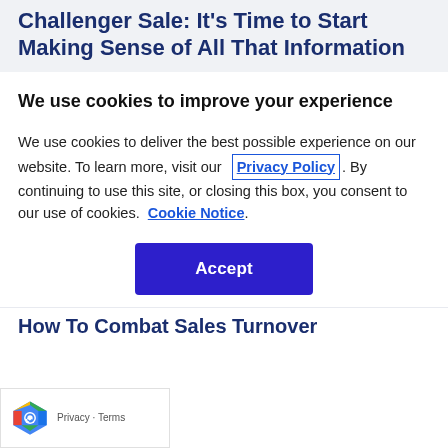Challenger Sale: It's Time to Start Making Sense of All That Information
We use cookies to improve your experience
We use cookies to deliver the best possible experience on our website. To learn more, visit our  Privacy Policy . By continuing to use this site, or closing this box, you consent to our use of cookies.  Cookie Notice .
How To Combat Sales Turnover
Privacy · Terms